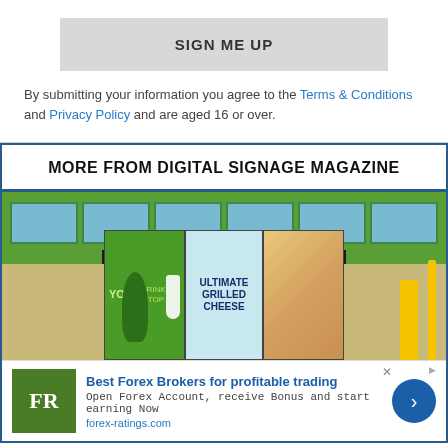SIGN ME UP
By submitting your information you agree to the Terms & Conditions and Privacy Policy and are aged 16 or over.
MORE FROM DIGITAL SIGNAGE MAGAZINE
[Figure (photo): Exterior of a green fast-food restaurant building with digital signage panels on the door showing 'YOUR DRINK STOP' and 'ULTIMATE GRILLED CHEESE']
Best Forex Brokers for profitable trading
Open Forex Account, receive Bonus and start earning Now
forex-ratings.com